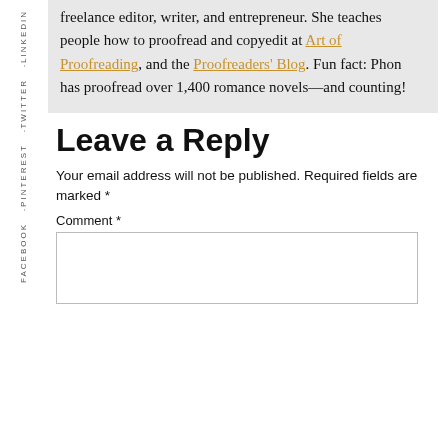freelance editor, writer, and entrepreneur. She teaches people how to proofread and copyedit at Art of Proofreading, and the Proofreaders' Blog. Fun fact: Phon has proofread over 1,400 romance novels—and counting!
Leave a Reply
Your email address will not be published. Required fields are marked *
Comment *